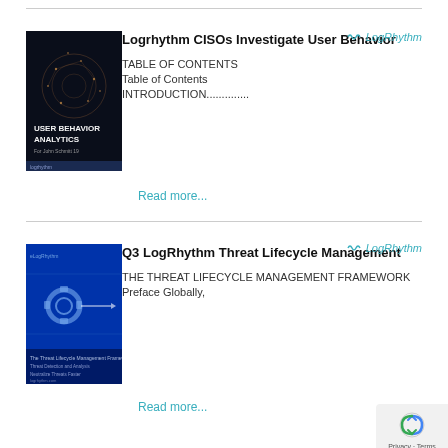[Figure (illustration): Book cover for 'User Behavior Analytics' with dark blue background and network/globe imagery]
Logrhythm CISOs Investigate User Behavior
TABLE OF CONTENTS
Table of Contents
INTRODUCTION..............
Read more...
[Figure (illustration): Book cover for 'Q3 LogRhythm Threat Lifecycle Management' with blue background and gear/tech imagery]
Q3 LogRhythm Threat Lifecycle Management
THE THREAT LIFECYCLE MANAGEMENT FRAMEWORK Preface Globally,
Read more...